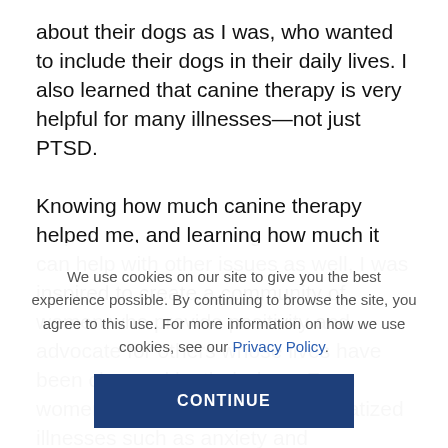about their dogs as I was, who wanted to include their dogs in their daily lives. I also learned that canine therapy is very helpful for many illnesses—not just PTSD.

Knowing how much canine therapy helped me, and learning how much it can help with other issues as well, I was inspired to create a community of women who provide positivity and advocate for others whose lives have been changed by their dogs. From women dealing with heavily stigmatized illnesses such as anxiety and
We use cookies on our site to give you the best experience possible. By continuing to browse the site, you agree to this use. For more information on how we use cookies, see our Privacy Policy.